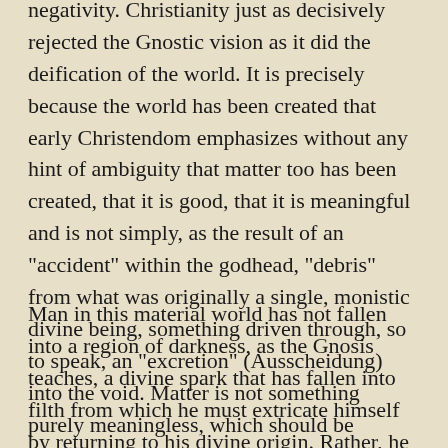negativity. Christianity just as decisively rejected the Gnostic vision as it did the deification of the world. It is precisely because the world has been created that early Christendom emphasizes without any hint of ambiguity that matter too has been created, that it is good, that it is meaningful and is not simply, as the result of an "accident" within the godhead, "debris" from what was originally a single, monistic divine being, something driven through, so to speak, an "excretion" (Ausscheidung) into the void. Matter is not something purely meaningless, which should be overcome, put aside. Matter was created. "God saw that it was good" (Genesis 1:10).
Man in this material world has not fallen into a region of darkness, as the Gnosis teaches, a divine spark that has fallen into filth from which he must extricate himself by returning to his divine origin. Rather, he partakes of creation. He is willed by God, as a material but also spiritual-